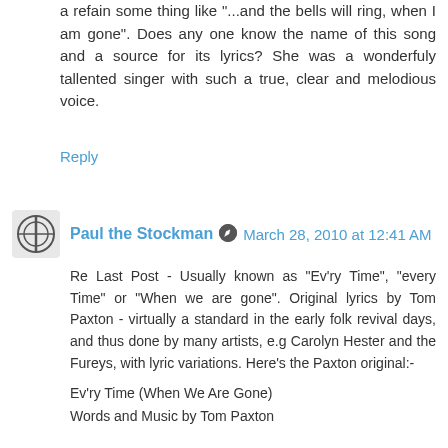a refain some thing like "...and the bells will ring, when I am gone". Does any one know the name of this song and a source for its lyrics? She was a wonderfuly tallented singer with such a true, clear and melodious voice.
Reply
Paul the Stockman   March 28, 2010 at 12:41 AM
Re Last Post - Usually known as "Ev'ry Time", "every Time" or "When we are gone". Original lyrics by Tom Paxton - virtually a standard in the early folk revival days, and thus done by many artists, e.g Carolyn Hester and the Fureys, with lyric variations. Here's the Paxton original:-
Ev'ry Time (When We Are Gone)
Words and Music by Tom Paxton

Ev'ry time I hear a sweet bird singin'
I think of you and I, my dear,
I think of you and I.
When I hear the evenin' bells a ringin'